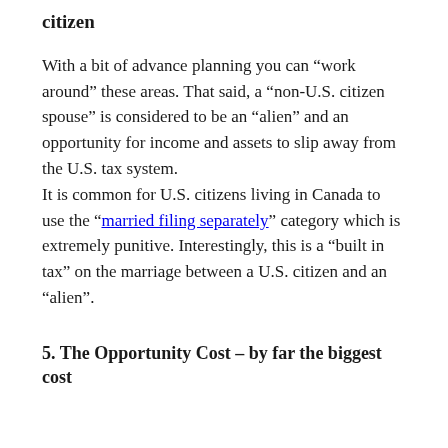citizen
With a bit of advance planning you can “work around” these areas. That said, a “non-U.S. citizen spouse” is considered to be an “alien” and an opportunity for income and assets to slip away from the U.S. tax system. It is common for U.S. citizens living in Canada to use the “married filing separately” category which is extremely punitive. Interestingly, this is a “built in tax” on the marriage between a U.S. citizen and an “alien”.
5. The Opportunity Cost – by far the biggest cost